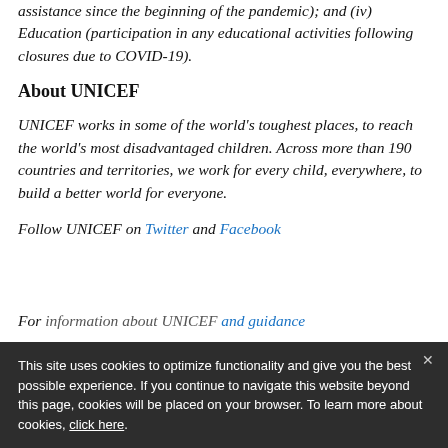assistance since the beginning of the pandemic); and (iv) Education (participation in any educational activities following closures due to COVID-19).
About UNICEF
UNICEF works in some of the world's toughest places, to reach the world's most disadvantaged children. Across more than 190 countries and territories, we work for every child, everywhere, to build a better world for everyone.
Follow UNICEF on Twitter and Facebook
For information about UNICEF and guidance on how to protect children and families, visit: www.unicef.org
This site uses cookies to optimize functionality and give you the best possible experience. If you continue to navigate this website beyond this page, cookies will be placed on your browser. To learn more about cookies, click here.